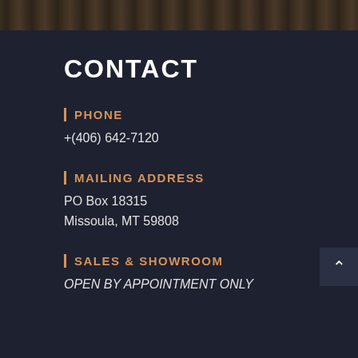[Figure (photo): Wood texture header bar at the top of the page]
CONTACT
PHONE
+(406) 642-7120
MAILING ADDRESS
PO Box 18315
Missoula, MT 59808
SALES & SHOWROOM
OPEN BY APPOINTMENT ONLY